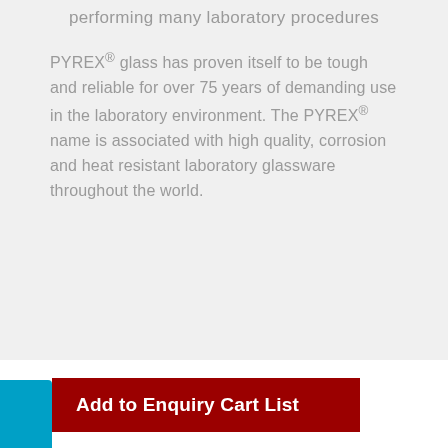performing many laboratory procedures
PYREX® glass has proven itself to be tough and reliable for over 75 years of demanding use in the laboratory environment. The PYREX® name is associated with high quality, corrosion and heat resistant laboratory glassware throughout the world.
Add to Enquiry Cart List
Leave a message
BrandTech®
Dispensette® III Bottletop Dispensers with SafetyPrime™ Valves
BrandTech® Transferpette Single Channel Pipettes